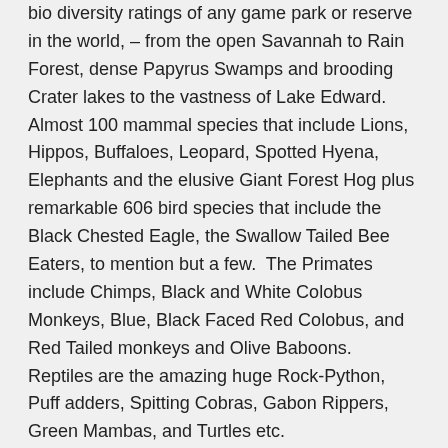bio diversity ratings of any game park or reserve in the world, – from the open Savannah to Rain Forest, dense Papyrus Swamps and brooding Crater lakes to the vastness of Lake Edward.  Almost 100 mammal species that include Lions, Hippos, Buffaloes, Leopard, Spotted Hyena, Elephants and the elusive Giant Forest Hog plus remarkable 606 bird species that include the Black Chested Eagle, the Swallow Tailed Bee Eaters, to mention but a few.  The Primates include Chimps, Black and White Colobus Monkeys, Blue, Black Faced Red Colobus, and Red Tailed monkeys and Olive Baboons. Reptiles are the amazing huge Rock-Python, Puff adders, Spitting Cobras, Gabon Rippers, Green Mambas, and Turtles etc. Over night at Lodge or Camp. FB
Day 5: Queen Elizabeth National Park
This morning, go for Chimpanzee tracking in Kyambura gorge returning to the lodge in time for lunch